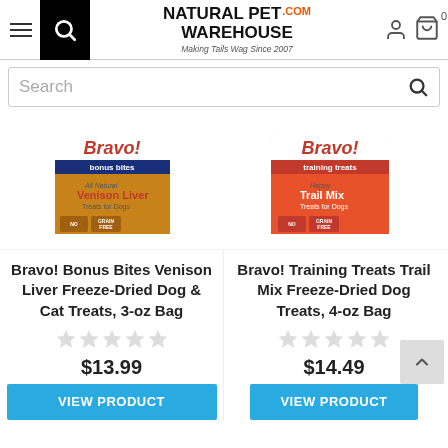[Figure (logo): Natural Pet Warehouse .com logo with tagline 'Making Tails Wag Since 2007']
Search
[Figure (photo): Bravo! Bonus Bites Venison Liver Freeze-Dried dog treats bag, brown packaging]
[Figure (photo): Bravo! Training Treats Trail Mix Freeze-Dried dog treats bag, red/orange packaging]
Bravo! Bonus Bites Venison Liver Freeze-Dried Dog & Cat Treats, 3-oz Bag
Bravo! Training Treats Trail Mix Freeze-Dried Dog Treats, 4-oz Bag
$13.99
$14.49
VIEW PRODUCT
VIEW PRODUCT